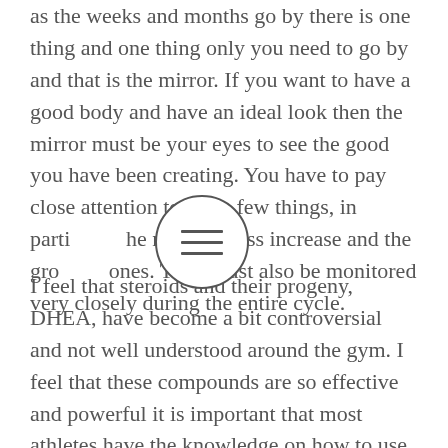as the weeks and months go by there is one thing and one thing only you need to go by and that is the mirror. If you want to have a good body and have an ideal look then the mirror must be your eyes to see the good you have been creating. You have to pay close attention to these few things, in particular the muscle mass increase and the growth hormones. They must also be monitored very closely during the entire cycle.
I feel that steroids and their progeny, DHEA, have become a bit controversial and not well understood around the gym. I feel that these compounds are so effective and powerful it is important that most athletes have the knowledge on how to use them properly. I would go even further and say that some athletes use steroids at the expense of their own health and well being and it must be a very rare occurrence to see someone have